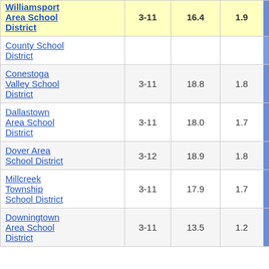| School District | Grades | Col3 | Col4 | Col5 | Col6 |
| --- | --- | --- | --- | --- | --- |
| Williamsport Area School District | 3-11 | 16.4 | 1.9 | 8.63 | 3 |
| County School District |  |  |  |  |  |
| Conestoga Valley School District | 3-11 | 18.8 | 1.8 | 10.32 |  |
| Dallastown Area School District | 3-11 | 18.0 | 1.7 | 10.45 |  |
| Dover Area School District | 3-12 | 18.9 | 1.8 | 10.55 |  |
| Millcreek Township School District | 3-11 | 17.9 | 1.7 | 10.76 |  |
| Downingtown Area School District | 3-11 | 13.5 | 1.2 | 10.90 |  |